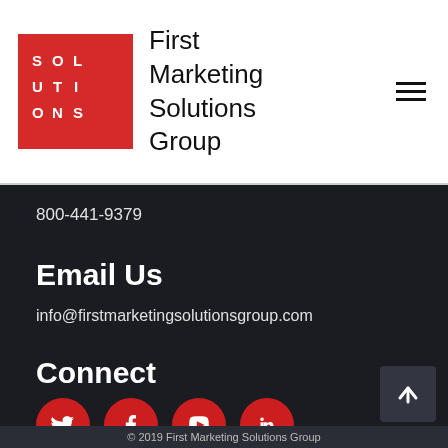[Figure (logo): First Marketing Solutions Group red logo with SOL-UTI-ONS grid letters and company name beside it]
800-441-9379
Email Us
info@firstmarketingsolutionsgroup.com
Connect
[Figure (illustration): Social media icons: Twitter, Facebook, YouTube, LinkedIn — all red circles with white icons]
© 2019 First Marketing Solutions Group